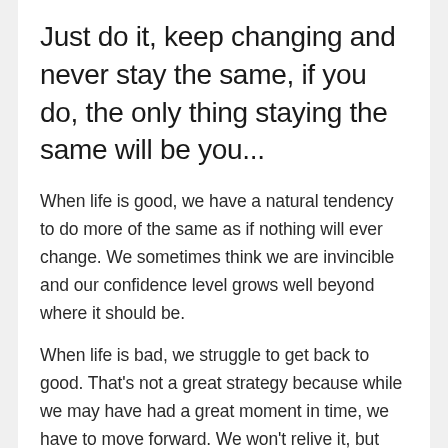Just do it, keep changing and never stay the same, if you do, the only thing staying the same will be you...
When life is good, we have a natural tendency to do more of the same as if nothing will ever change. We sometimes think we are invincible and our confidence level grows well beyond where it should be.
When life is bad, we struggle to get back to good. That's not a great strategy because while we may have had a great moment in time, we have to move forward. We won't relive it, but instead we